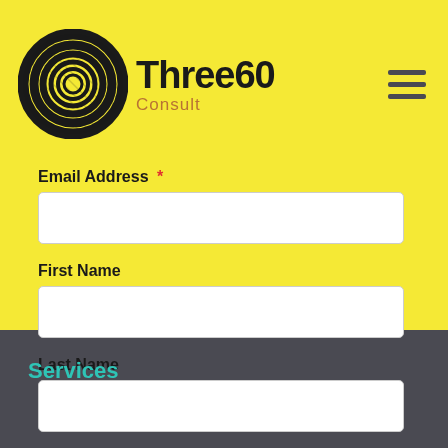[Figure (logo): Three60 Consult logo: circular spiral graphic in dark/black with company name 'Three60' in bold dark text and 'Consult' in orange-brown below]
Email Address *
First Name
Last Name
Subscribe
Services